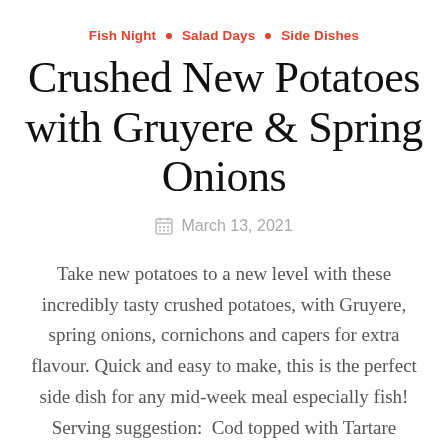Fish Night · Salad Days · Side Dishes
Crushed New Potatoes with Gruyere & Spring Onions
March 13, 2021
Take new potatoes to a new level with these incredibly tasty crushed potatoes, with Gruyere, spring onions, cornichons and capers for extra flavour. Quick and easy to make, this is the perfect side dish for any mid-week meal especially fish! Serving suggestion: Cod topped with Tartare